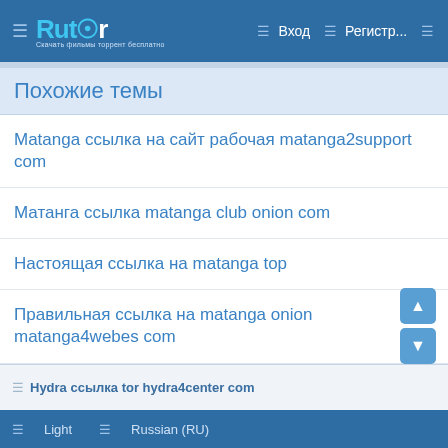☰ Rutor | Вход | Регистр... ☰
Похожие темы
Matanga ссылка на сайт рабочая matanga2support com
Матанга ссылка matanga club onion com
Настоящая ссылка на matanga top
Правильная ссылка на matanga onion matanga4webes com
Правильная ссылка на matanga top
☰ Hydra ссылка tor hydra4center com
☰ Light  ☰ Russian (RU)